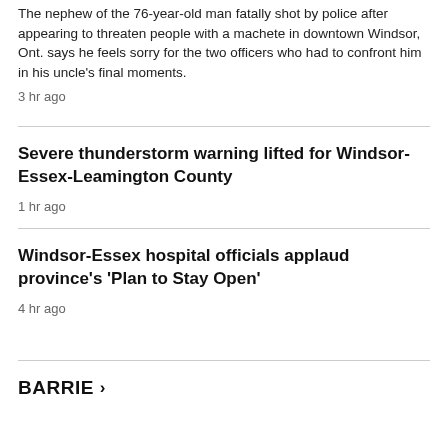The nephew of the 76-year-old man fatally shot by police after appearing to threaten people with a machete in downtown Windsor, Ont. says he feels sorry for the two officers who had to confront him in his uncle's final moments.
3 hr ago
Severe thunderstorm warning lifted for Windsor-Essex-Leamington County
1 hr ago
Windsor-Essex hospital officials applaud province's 'Plan to Stay Open'
4 hr ago
BARRIE >